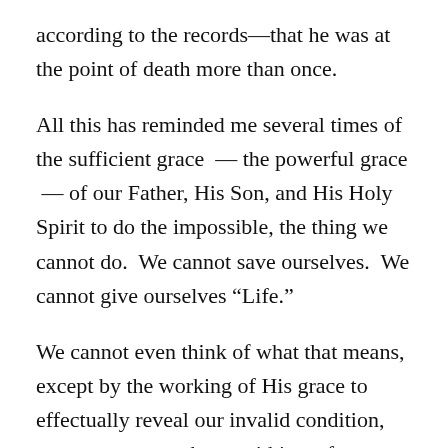according to the records—that he was at the point of death more than once.
All this has reminded me several times of the sufficient grace  — the powerful grace  — of our Father, His Son, and His Holy Spirit to do the impossible, the thing we cannot do.  We cannot save ourselves.  We cannot give ourselves “Life.”
We cannot even think of what that means, except by the working of His grace to effectually reveal our invalid condition, regenerate a new heart within us for a valid faith and repentance—by His own goodness turning us to Himself through the authority of His Word and the power of His Holy Spirit.